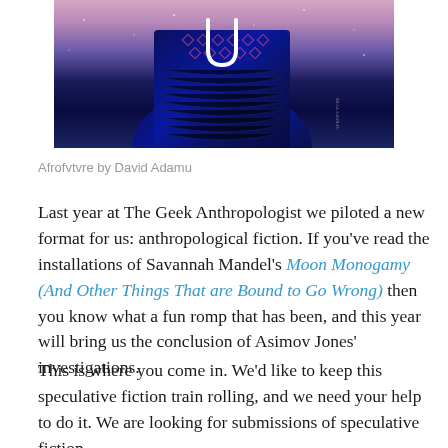[Figure (illustration): Book cover artwork titled 'Afrofvtvre by David Adamu' — a dark blue illustrated figure against a pink/purple sky background with decorative patterns.]
Afrofvtvre by David Adamu
Last year at The Geek Anthropologist we piloted a new format for us: anthropological fiction. If you've read the installations of Savannah Mandel's Moon Monogamy (And Other Things That are Bound to Go Wrong) then you know what a fun romp that has been, and this year will bring us the conclusion of Asimov Jones' investigations.
This is where you come in. We'd like to keep this speculative fiction train rolling, and we need your help to do it. We are looking for submissions of speculative fiction